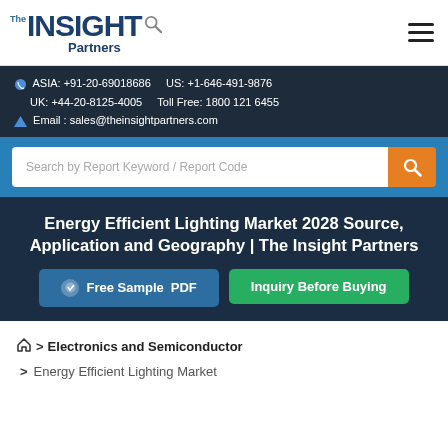[Figure (logo): The Insight Partners logo with magnifying glass icon]
ASIA: +91-20-69018686    US: +1-646-491-9876
UK: +44-20-8125-4005    Toll Free: 1800 121 6455
Email : sales@theinsightpartners.com
Search by Report Keyword / Report Code
Energy Efficient Lighting Market 2028 Source, Application and Geography | The Insight Partners
Free Sample PDF
Inquiry Before Buying
> Electronics and Semiconductor
> Energy Efficient Lighting Market